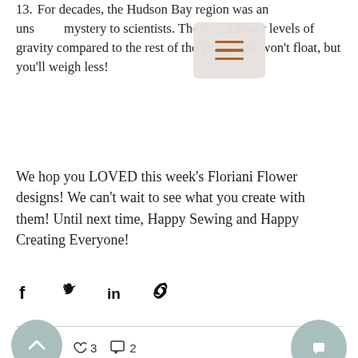13. For decades, the Hudson Bay region was an unsolved mystery to scientists. The area has lower levels of gravity compared to the rest of the globe. You won't float, but you'll weigh less!
We hop you LOVED this week's Floriani Flower designs! We can't wait to see what you create with them! Until next time, Happy Sewing and Happy Creating Everyone!